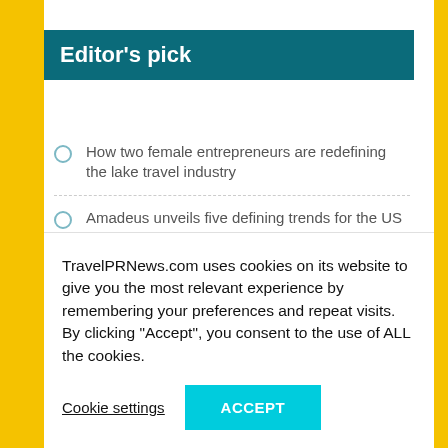Editor's pick
How two female entrepreneurs are redefining the lake travel industry
Amadeus unveils five defining trends for the US group travel and events industry in 2022
Cruzeiro Safaris Kenya ready to welcome travelers back to Kenya for an unforgettable safari travel experiences
Zante 2022 : the Best Season Ever
TravelPRNews.com uses cookies on its website to give you the most relevant experience by remembering your preferences and repeat visits. By clicking “Accept”, you consent to the use of ALL the cookies.
Cookie settings
ACCEPT